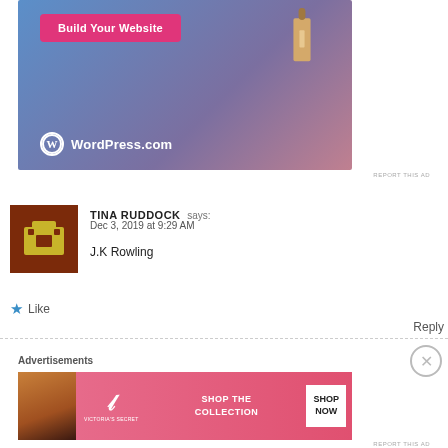[Figure (illustration): WordPress.com advertisement with blue-purple gradient background, 'Build Your Website' pink button, a price tag illustration, and WordPress.com logo]
REPORT THIS AD
[Figure (illustration): User avatar: pixel art style icon on brown/red background showing a briefcase or chair]
TINA RUDDOCK says:
Dec 3, 2019 at 9:29 AM
J.K Rowling
★ Like
Reply
Advertisements
[Figure (illustration): Victoria's Secret advertisement with pink background, VS logo, 'SHOP THE COLLECTION' text, and 'SHOP NOW' white button]